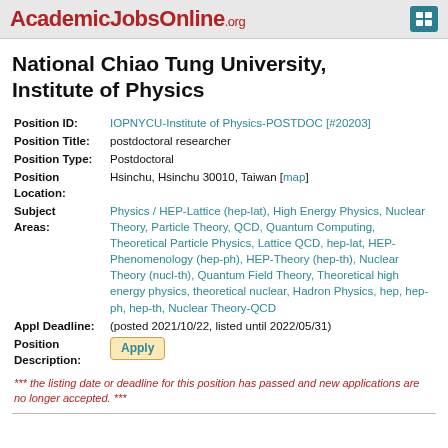AcademicJobsOnline.org
National Chiao Tung University, Institute of Physics
| Field | Value |
| --- | --- |
| Position ID: | IOPNYCU-Institute of Physics-POSTDOC [#20203] |
| Position Title: | postdoctoral researcher |
| Position Type: | Postdoctoral |
| Position Location: | Hsinchu, Hsinchu 30010, Taiwan [map] |
| Subject Areas: | Physics / HEP-Lattice (hep-lat), High Energy Physics, Nuclear Theory, Particle Theory, QCD, Quantum Computing, Theoretical Particle Physics, Lattice QCD, hep-lat, HEP-Phenomenology (hep-ph), HEP-Theory (hep-th), Nuclear Theory (nucl-th), Quantum Field Theory, Theoretical high energy physics, theoretical nuclear, Hadron Physics, hep, hep-ph, hep-th, Nuclear Theory-QCD |
| Appl Deadline: | (posted 2021/10/22, listed until 2022/05/31) |
| Position Description: | Apply |
*** the listing date or deadline for this position has passed and new applications are no longer accepted. ***